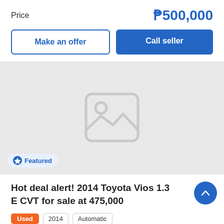Price
₱500,000
Make an offer
Call seller
[Figure (illustration): Car listing placeholder image with image icon on grey background. Featured badge at bottom left.]
Featured
Hot deal alert! 2014 Toyota Vios 1.3 E CVT for sale at 475,000
Used
2014
Automatic
Metro Manila, Quezon City